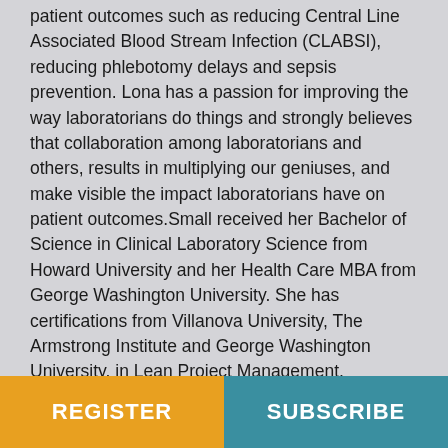patient outcomes such as reducing Central Line Associated Blood Stream Infection (CLABSI), reducing phlebotomy delays and sepsis prevention. Lona has a passion for improving the way laboratorians do things and strongly believes that collaboration among laboratorians and others, results in multiplying our geniuses, and make visible the impact laboratorians have on patient outcomes.Small received her Bachelor of Science in Clinical Laboratory Science from Howard University and her Health Care MBA from George Washington University. She has certifications from Villanova University, The Armstrong Institute and George Washington University, in Lean Project Management, Business Process management, Return on Investment, Lean Six Sigma, Human factors Engineering, Comprehensive Unit Based Safety Program and HealthCare Quality, among others.
REGISTER    SUBSCRIBE